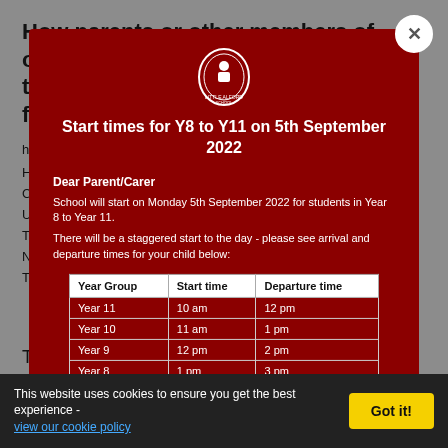How parents or other members of other public can find out more about the curriculum/syllabus we are following:
http://www.artcoursework.com/
[Figure (screenshot): Modal popup on a dark red background with a school logo (Little Alford School crest), titled 'Start times for Y8 to Y11 on 5th September 2022'. Contains a message 'Dear Parent/Carer' and text about school starting on Monday 5th September 2022 for students in Year 8 to Year 11, with staggered start times. Includes a close button (X) in the top right corner.]
| Year Group | Start time | Departure time |
| --- | --- | --- |
| Year 11 | 10 am | 12 pm |
| Year 10 | 11 am | 1 pm |
| Year 9 | 12 pm | 2 pm |
| Year 8 | 1 pm | 3 pm |
Tate Modern
This website uses cookies to ensure you get the best experience - view our cookie policy